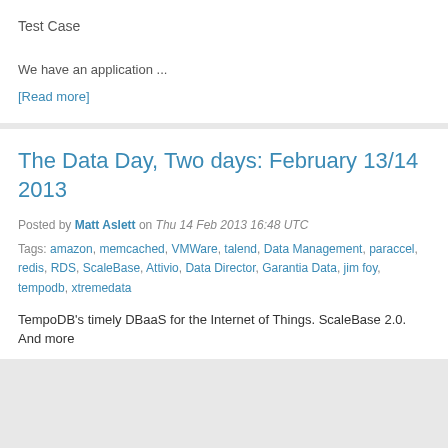Test Case
We have an application ...
[Read more]
The Data Day, Two days: February 13/14 2013
Posted by Matt Aslett on Thu 14 Feb 2013 16:48 UTC
Tags: amazon, memcached, VMWare, talend, Data Management, paraccel, redis, RDS, ScaleBase, Attivio, Data Director, Garantia Data, jim foy, tempodb, xtremedata
TempoDB's timely DBaaS for the Internet of Things. ScaleBase 2.0. And more